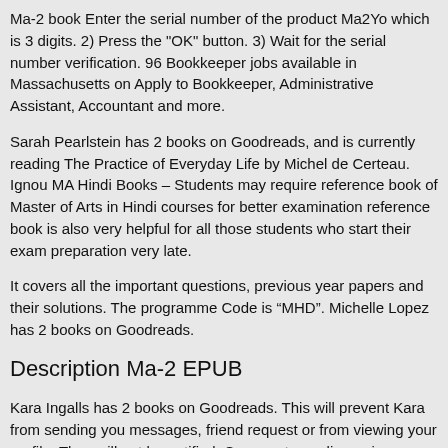Ma-2 book Enter the serial number of the product Ma2Yo which is 3 digits. 2) Press the "OK" button. 3) Wait for the serial number verification. 96 Bookkeeper jobs available in Massachusetts on Apply to Bookkeeper, Administrative Assistant, Accountant and more.
Sarah Pearlstein has 2 books on Goodreads, and is currently reading The Practice of Everyday Life by Michel de Certeau. Ignou MA Hindi Books – Students may require reference book of Master of Arts in Hindi courses for better examination reference book is also very helpful for all those students who start their exam preparation very late.
It covers all the important questions, previous year papers and their solutions. The programme Code is “MHD”. Michelle Lopez has 2 books on Goodreads.
Description Ma-2 EPUB
Kara Ingalls has 2 books on Goodreads. This will prevent Kara from sending you messages, friend request or from viewing your profile. They will not be notified. Comments on discussion boards from them will be hidden by default.
Social This Means War. Excerpt: The Social This Means and Me...